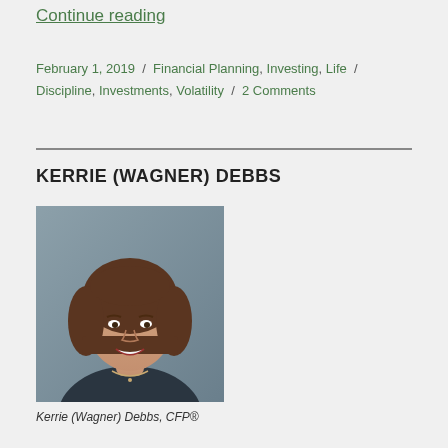Continue reading
February 1, 2019 / Financial Planning, Investing, Life Discipline, Investments, Volatility / 2 Comments
KERRIE (WAGNER) DEBBS
[Figure (photo): Professional headshot of Kerrie (Wagner) Debbs, a woman with a brown bob haircut wearing a dark top and necklace, smiling.]
Kerrie (Wagner) Debbs, CFP®